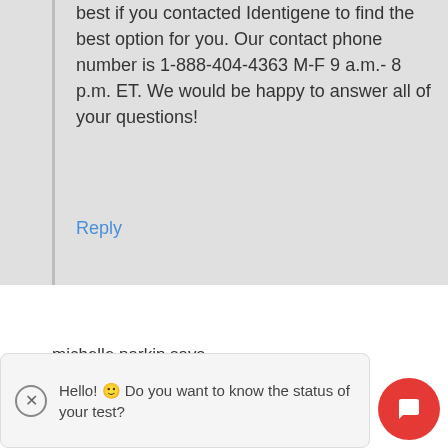best if you contacted Identigene to find the best option for you. Our contact phone number is 1-888-404-4363 M-F 9 a.m.- 8 p.m. ET. We would be happy to answer all of your questions!
Reply
michelle parkin says
March 13, 2014 at 12:38 p.m.
Hello! 🙂 Do you want to know the status of your test?